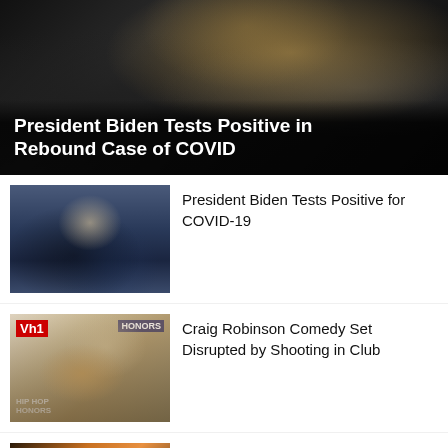[Figure (photo): Hero image of President Biden smiling, dark background with warm lighting overlay]
President Biden Tests Positive in Rebound Case of COVID
[Figure (photo): Thumbnail photo of President Biden at a podium]
President Biden Tests Positive for COVID-19
[Figure (photo): Thumbnail photo of Craig Robinson at VH1 Hip Hop Honors event]
Craig Robinson Comedy Set Disrupted by Shooting in Club
[Figure (photo): Thumbnail group photo of Jeneration J winners on stage]
Jeneration J Names Winners in Raise Your Voice for Peace Vocal Contest